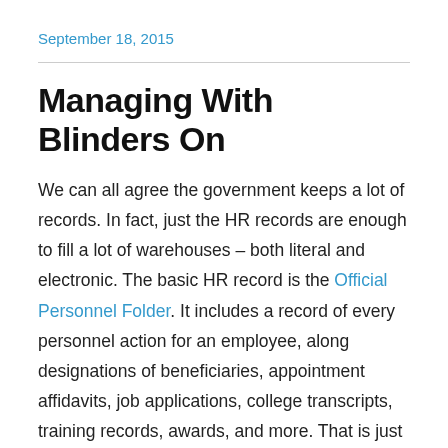September 18, 2015
Managing With Blinders On
We can all agree the government keeps a lot of records. In fact, just the HR records are enough to fill a lot of warehouses – both literal and electronic. The basic HR record is the Official Personnel Folder. It includes a record of every personnel action for an employee, along designations of beneficiaries, appointment affidavits, job applications, college transcripts, training records, awards, and more. That is just the start of the government's HR record keeping. The Office of Personnel Management and agencies that run their own hiring process keep millions of